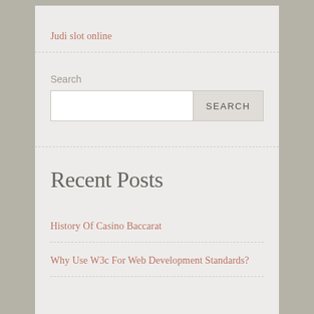Judi slot online
Search
Recent Posts
History Of Casino Baccarat
Why Use W3c For Web Development Standards?